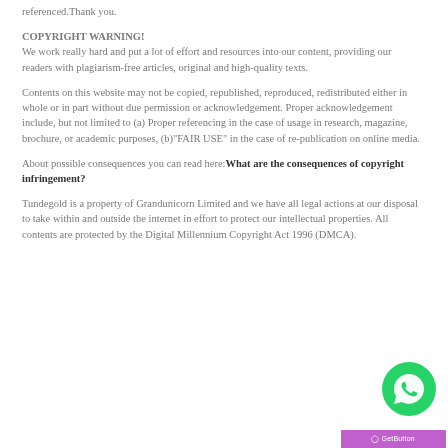referenced.Thank you.
COPYRIGHT WARNING!
We work really hard and put a lot of effort and resources into our content, providing our readers with plagiarism-free articles, original and high-quality texts.
Contents on this website may not be copied, republished, reproduced, redistributed either in whole or in part without due permission or acknowledgement. Proper acknowledgement include, but not limited to (a) Proper referencing in the case of usage in research, magazine, brochure, or academic purposes, (b)"FAIR USE" in the case of re-publication on online media.
About possible consequences you can read here: What are the consequences of copyright infringement?
Tundegold is a property of Grandunicorn Limited and we have all legal actions at our disposal to take within and outside the internet in effort to protect our intellectual properties. All contents are protected by the Digital Millennium Copyright Act 1996 (DMCA).
[Figure (other): WhatsApp chat button (green circle with phone/chat icon) and GetButton branding bar in purple/magenta]